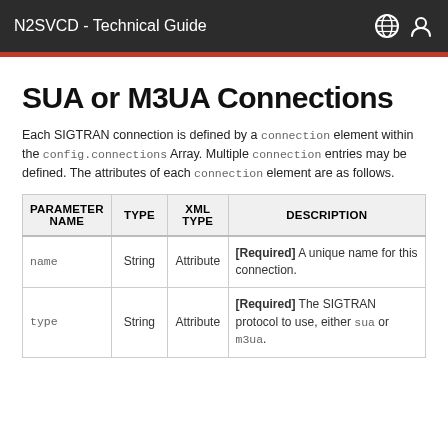N2SVCD - Technical Guide
SUA or M3UA Connections
Each SIGTRAN connection is defined by a connection element within the config.connections Array. Multiple connection entries may be defined. The attributes of each connection element are as follows.
| PARAMETER NAME | TYPE | XML TYPE | DESCRIPTION |
| --- | --- | --- | --- |
| name | String | Attribute | [Required] A unique name for this connection. |
| type | String | Attribute | [Required] The SIGTRAN protocol to use, either sua or m3ua. |